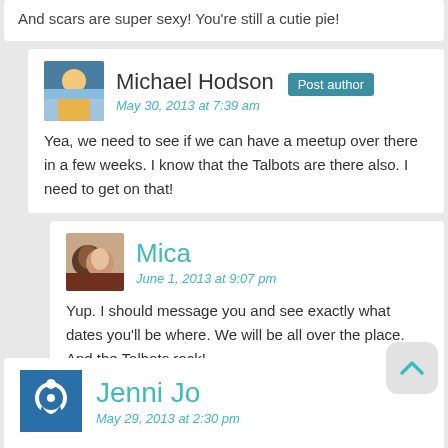And scars are super sexy! You're still a cutie pie!
Michael Hodson Post author
May 30, 2013 at 7:39 am
Yea, we need to see if we can have a meetup over there in a few weeks. I know that the Talbots are there also. I need to get on that!
Mica
June 1, 2013 at 9:07 pm
Yup. I should message you and see exactly what dates you'll be where. We will be all over the place. And the Talbots rock!
Jenni Jo
May 29, 2013 at 2:30 pm